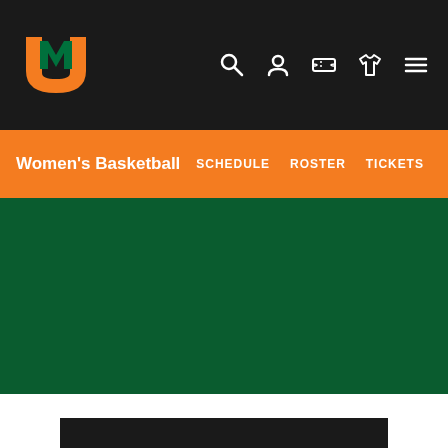[Figure (screenshot): University of Miami athletics website header with dark background, orange UM logo on left, and navigation icons (search, user, ticket, shirt, hamburger menu) on right]
Women's Basketball  SCHEDULE  ROSTER  TICKETS
[Figure (photo): Large dark green hero image area for University of Miami Women's Basketball]
[Figure (photo): Partial banner at bottom reading WANT TO BE A PART OF THE TEAM? with NATIONAL CHAMPION text on right]